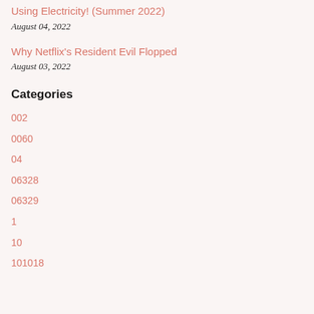Using Electricity! (Summer 2022)
August 04, 2022
Why Netflix's Resident Evil Flopped
August 03, 2022
Categories
002
0060
04
06328
06329
1
10
101018